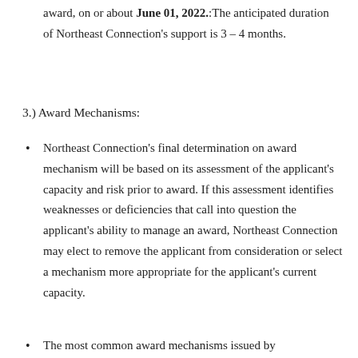award, on or about June 01, 2022.:The anticipated duration of Northeast Connection's support is 3 – 4 months.
3.) Award Mechanisms:
Northeast Connection's final determination on award mechanism will be based on its assessment of the applicant's capacity and risk prior to award. If this assessment identifies weaknesses or deficiencies that call into question the applicant's ability to manage an award, Northeast Connection may elect to remove the applicant from consideration or select a mechanism more appropriate for the applicant's current capacity.
The most common award mechanisms issued by